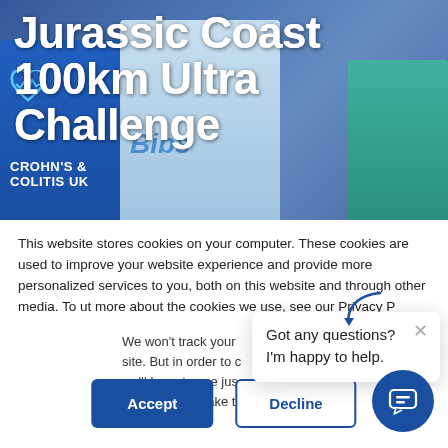[Figure (photo): Hero image with people wearing charity event t-shirts including Crohn's & Colitis UK and Bibs brand shirts, with blue overlay]
Jurassic Coast 100km Ultra Challenge
This website stores cookies on your computer. These cookies are used to improve your website experience and provide more personalized services to you, both on this website and through other media. To find out more about the cookies we use, see our Privacy P...
We won't track your... site. But in order to c... we'll have to use jus... not asked to make this choice again.
Got any questions? I'm happy to help.
Accept
Decline